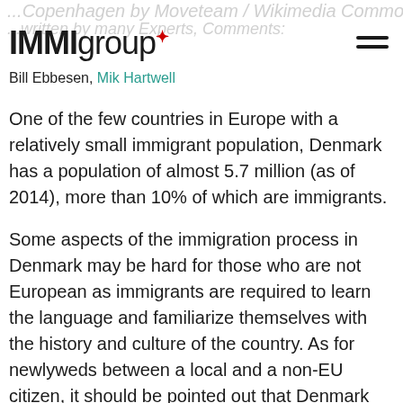IMIgroup
Bill Ebbesen, Mik Hartwell
One of the few countries in Europe with a relatively small immigrant population, Denmark has a population of almost 5.7 million (as of 2014), more than 10% of which are immigrants.
Some aspects of the immigration process in Denmark may be hard for those who are not European as immigrants are required to learn the language and familiarize themselves with the history and culture of the country. As for newlyweds between a local and a non-EU citizen, it should be pointed out that Denmark has a controversial 24 year Rule, the government demands that the couple must be over 24 years old, have cohabited for at least 18 months, that you prove the marriage is 100% voluntary and that the Danish